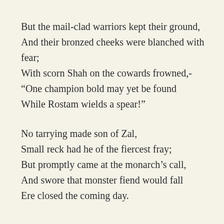But the mail-clad warriors kept their ground, And their bronzed cheeks were blanched with fear; With scorn Shah on the cowards frowned,- “One champion bold may yet be found While Rostam wields a spear!”
No tarrying made son of Zal, Small reck had he of the fiercest fray; But promptly came at the monarch’s call, And swore that monster fiend would fall Ere closed the coming day.